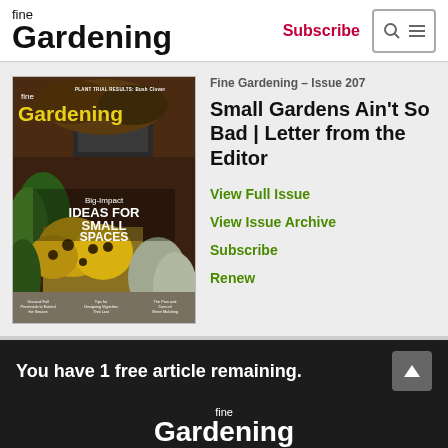fine Gardening | Subscribe
[Figure (photo): Fine Gardening magazine Issue 207 cover showing a garden with yellow black-eyed Susans, ornamental grasses, and other plants. Text reads: Big-Impact IDEAS FOR SMALL SPACES. Plant Trial Results: Bush Clover. Tips for Designing Vignettes That Last. The Pros and Cons of Sheet Mulching. Unusual Fall Perennials to Extend the Season.]
Fine Gardening – Issue 207
Small Gardens Ain't So Bad | Letter from the Editor
View Full Issue
View Issue Archive
Subscribe
Renew
You have 1 free article remaining.